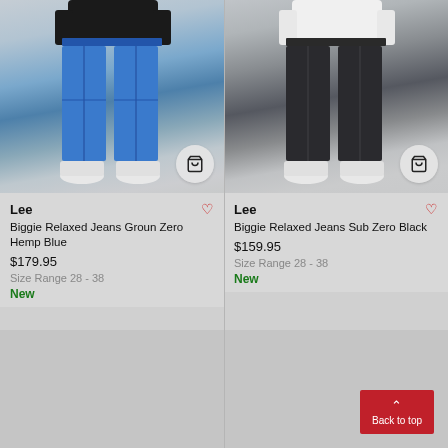[Figure (photo): Model wearing Lee Biggie Relaxed Jeans Groun Zero Hemp Blue – blue denim wide-leg jeans, shot from torso down]
Lee
Biggie Relaxed Jeans Groun Zero Hemp Blue
$179.95
Size Range 28 - 38
New
[Figure (photo): Model wearing Lee Biggie Relaxed Jeans Sub Zero Black – black wide-leg jeans, shot from torso down]
Lee
Biggie Relaxed Jeans Sub Zero Black
$159.95
Size Range 28 - 38
New